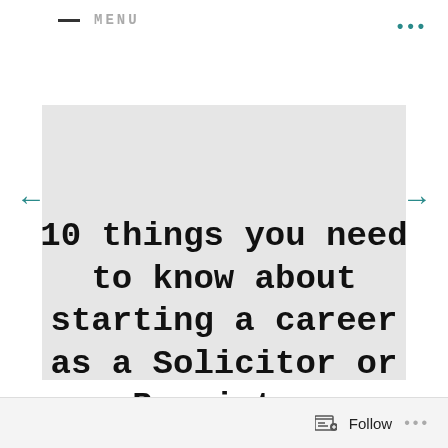— MENU
10 things you need to know about starting a career as a Solicitor or Barrister
Follow ...